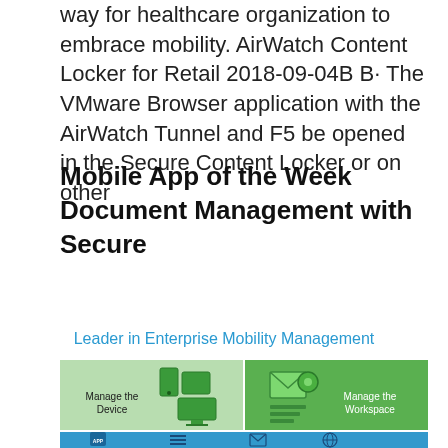way for healthcare organization to embrace mobility. AirWatch Content Locker for Retail 2018-09-04B B· The VMware Browser application with the AirWatch Tunnel and F5 be opened in the Secure Content Locker or on other
Mobile App of the Week Document Management with Secure
Leader in Enterprise Mobility Management
[Figure (infographic): Two-panel infographic showing 'Manage the Device' (left, green panel with device icons) and 'Manage the Workspace' (right, green panel with email/settings icons), and a blue bar below with icons for Apps, Content, Email, Browsing.]